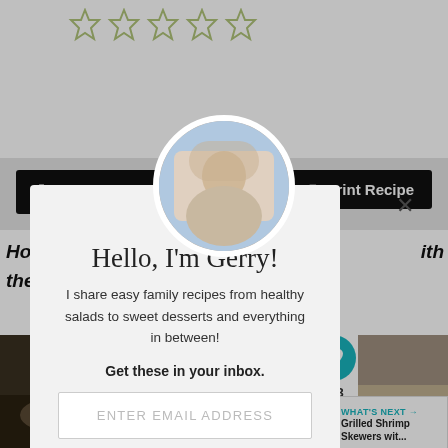[Figure (other): 5 star rating icons (light green outlined stars)]
[Figure (other): Jump to Recipe and Print Recipe buttons on dark bar]
Home ... ith the fl...
[Figure (photo): Food photo on left side]
[Figure (photo): Heart icon bubble with count 303 and share icon]
[Figure (other): What's Next: Grilled Shrimp Skewers wit...]
[Figure (photo): Modal popup with circular avatar photo of Gerry]
Hello, I'm Gerry!
I share easy family recipes from healthy salads to sweet desserts and everything in between!
Get these in your inbox.
ENTER EMAIL ADDRESS
SEND ME UPDATES